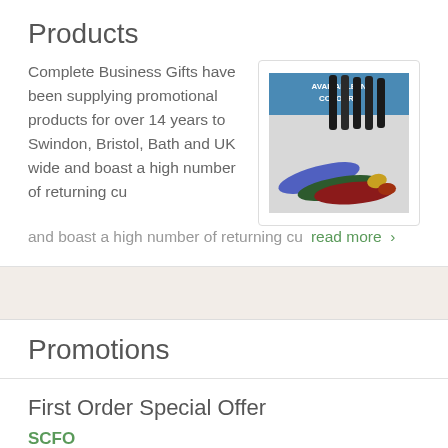Products
Complete Business Gifts have been supplying promotional products for over 14 years to Swindon, Bristol, Bath and UK wide and boast a high number of returning cu
[Figure (photo): Photo of colorful promotional items (pens/tools) laid out, with text overlay 'AVAILABLE IN COLOURS' on blue background]
read more >
Promotions
First Order Special Offer
SCFO
Expires on Dec 31, 2017
One FREE Origination Charge on your first order just